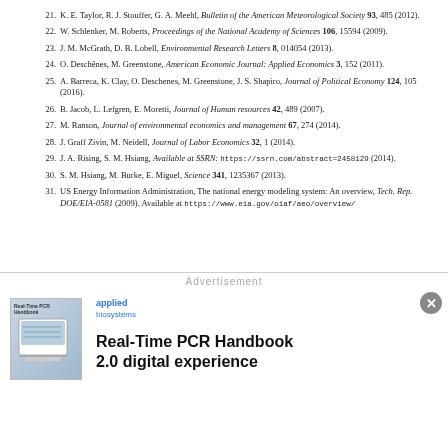21. K. E. Taylor, R. J. Stouffer, G. A. Meehl, Bulletin of the American Meteorological Society 93, 485 (2012).
22. W. Schlenker, M. Roberts, Proceedings of the National Academy of Sciences 106, 15594 (2009).
23. J. M. McGrath, D. B. Lobell, Environmental Research Letters 8, 014054 (2013).
24. O. Deschênes, M. Greenstone, American Economic Journal: Applied Economics 3, 152 (2011).
25. A. Barreca, K. Clay, O. Deschenes, M. Greenstone, J. S. Shapiro, Journal of Political Economy 124, 105 (2016).
26. B. Jacob, L. Lefgren, E. Moretti, Journal of Human resources 42, 489 (2007).
27. M. Ranson, Journal of environmental economics and management 67, 274 (2014).
28. J. Graff Zivin, M. Neidell, Journal of Labor Economics 32, 1 (2014).
29. J. A. Rising, S. M. Hsiang, Available at SSRN: https://ssrn.com/abstract=2458129 (2014).
30. S. M. Hsiang, M. Burke, E. Miguel, Science 341, 1235367 (2013).
31. US Energy Information Administration, The national energy modeling system: An overview, Tech. Rep. DOE/EIA-0581 (2009). Available at https://www.eia.gov/oiaf/aeo/overview/
[Figure (other): Advertisement banner for Applied Biosystems Real-Time PCR Handbook 2.0 digital experience, with a small thumbnail image of a laptop/document and Applied Biosystems logo.]